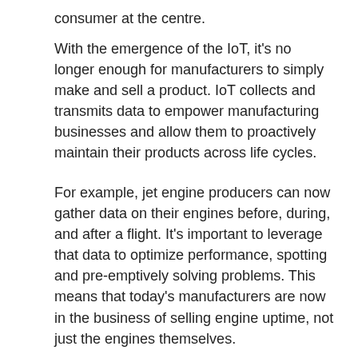consumer at the centre.
With the emergence of the IoT, it's no longer enough for manufacturers to simply make and sell a product. IoT collects and transmits data to empower manufacturing businesses and allow them to proactively maintain their products across life cycles.
For example, jet engine producers can now gather data on their engines before, during, and after a flight. It's important to leverage that data to optimize performance, spotting and pre-emptively solving problems. This means that today's manufacturers are now in the business of selling engine uptime, not just the engines themselves.